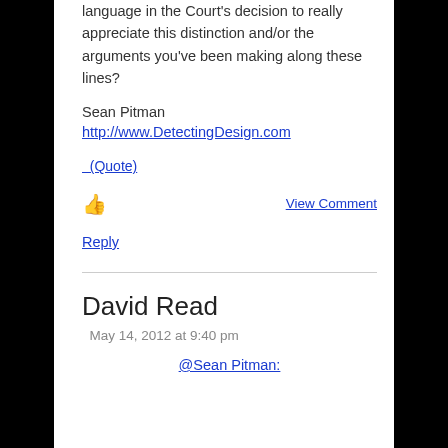language in the Court's decision to really appreciate this distinction and/or the arguments you've been making along these lines?
Sean Pitman
http://www.DetectingDesign.com
(Quote)
View Comment
Reply
David Read
May 14, 2012 at 9:40 pm
@Sean Pitman: